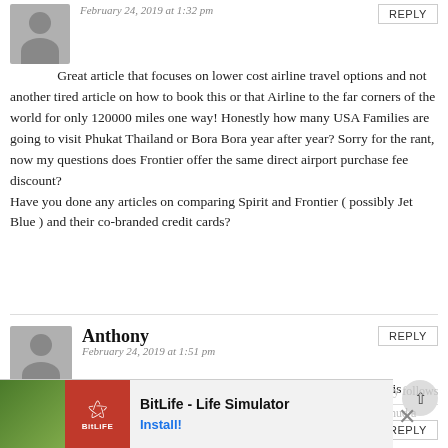February 24, 2019 at 1:32 pm
Great article that focuses on lower cost airline travel options and not another tired article on how to book this or that Airline to the far corners of the world for only 120000 miles one way! Honestly how many USA Families are going to visit Phukat Thailand or Bora Bora year after year? Sorry for the rant, now my questions does Frontier offer the same direct airport purchase fee discount?
Have you done any articles on comparing Spirit and Frontier ( possibly Jet Blue ) and their co-branded credit cards?
Anthony
February 24, 2019 at 1:51 pm
This fee should be illegal. Europe would never tolerate this nonsense.
Kyle Stewart
[Figure (other): BitLife Life Simulator advertisement banner at bottom of page]